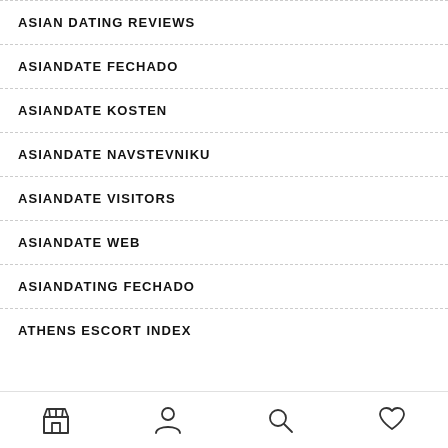ASIAN DATING REVIEWS
ASIANDATE FECHADO
ASIANDATE KOSTEN
ASIANDATE NAVSTEVNIKU
ASIANDATE VISITORS
ASIANDATE WEB
ASIANDATING FECHADO
ATHENS ESCORT INDEX
Navigation bar with store, profile, search, and favorites icons